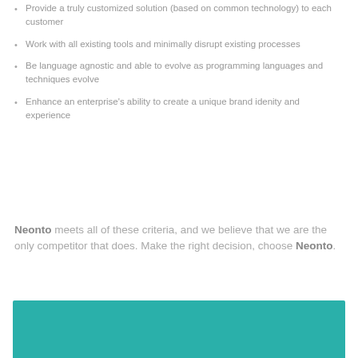Provide a truly customized solution (based on common technology) to each customer
Work with all existing tools and minimally disrupt existing processes
Be language agnostic and able to evolve as programming languages and techniques evolve
Enhance an enterprise's ability to create a unique brand idenity and experience
Neonto meets all of these criteria, and we believe that we are the only competitor that does. Make the right decision, choose Neonto.
[Figure (other): Teal/turquoise colored banner at the bottom of the page]